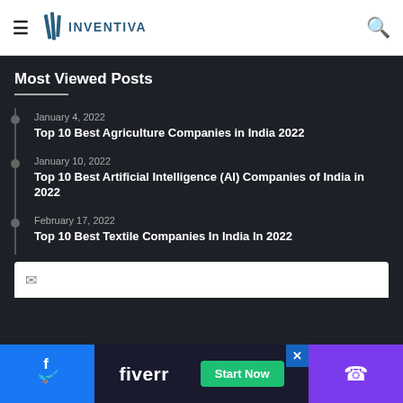Inventiva
Most Viewed Posts
January 4, 2022 — Top 10 Best Agriculture Companies in India 2022
January 10, 2022 — Top 10 Best Artificial Intelligence (AI) Companies of India in 2022
February 17, 2022 — Top 10 Best Textile Companies In India In 2022
[Figure (screenshot): Fiverr advertisement banner with Facebook and phone social sharing buttons]